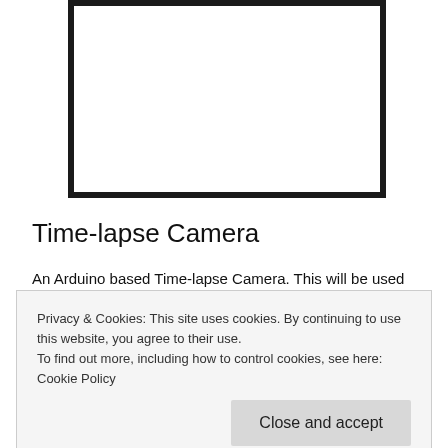[Figure (other): A rectangular image placeholder with thick black border, white interior.]
Time-lapse Camera
An Arduino based Time-lapse Camera. This will be used in...
Privacy & Cookies: This site uses cookies. By continuing to use this website, you agree to their use.
To find out more, including how to control cookies, see here: Cookie Policy
Close and accept
An Arduino based Game Camera that will also collect